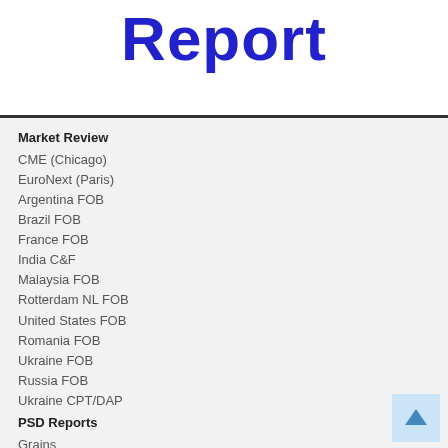Report
Market Review
CME (Chicago)
EuroNext (Paris)
Argentina FOB
Brazil FOB
France FOB
India C&F
Malaysia FOB
Rotterdam NL FOB
United States FOB
Romania FOB
Ukraine FOB
Russia FOB
Ukraine CPT/DAP
PSD Reports
Grains